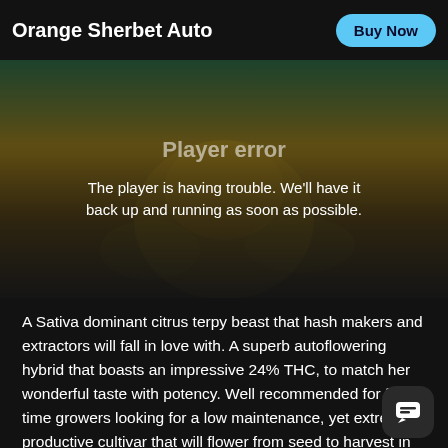Orange Sherbet Auto
[Figure (screenshot): Video player error screen showing a blurred cannabis plant image with dark overlay and error message: 'Player error — The player is having trouble. We'll have it back up and running as soon as possible.']
A Sativa dominant citrus terpy beast that hash makers and extractors will fall in love with. A superb autoflowering hybrid that boasts an impressive 24% THC, to match her wonderful taste with potency. Well recommended for first-time growers looking for a low maintenance, yet extremely productive cultivar that will flower from seed to harvest in 9-10 weeks. This stra grow tall making her one of the larger autoflower hybrids, meaning she is a wise choice for commercia